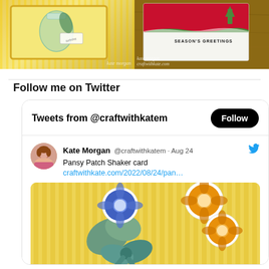[Figure (photo): Two craft card photos side by side at top of page — left shows a yellow striped birthday card, right shows a red and green seasons greetings card on a wooden surface, both with watermark 'kate morgan craftwithkate.com']
Follow me on Twitter
[Figure (screenshot): Twitter widget showing 'Tweets from @craftwithkatem' with a Follow button, and a tweet by Kate Morgan @craftwithkatem from Aug 24 reading 'Pansy Patch Shaker card craftwithkate.com/2022/08/24/pan...' with a photo of a pansy shaker card with blue and orange flowers and a teal ribbon bow on a yellow striped background]